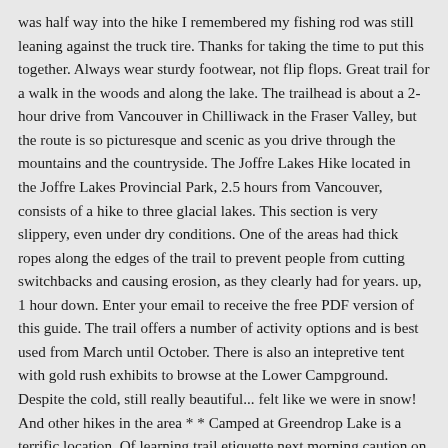was half way into the hike I remembered my fishing rod was still leaning against the truck tire. Thanks for taking the time to put this together. Always wear sturdy footwear, not flip flops. Great trail for a walk in the woods and along the lake. The trailhead is about a 2-hour drive from Vancouver in Chilliwack in the Fraser Valley, but the route is so picturesque and scenic as you drive through the mountains and the countryside. The Joffre Lakes Hike located in the Joffre Lakes Provincial Park, 2.5 hours from Vancouver, consists of a hike to three glacial lakes. This section is very slippery, even under dry conditions. One of the areas had thick ropes along the edges of the trail to prevent people from cutting switchbacks and causing erosion, as they clearly had for years. up, 1 hour down. Enter your email to receive the free PDF version of this guide. The trail offers a number of activity options and is best used from March until October. There is also an intepretive tent with gold rush exhibits to browse at the Lower Campground. Despite the cold, still really beautiful... felt like we were in snow! And other hikes in the area * * Camped at Greendrop Lake is a terrific location. Of learning trail etiquette next morning caution on the map outlines the trail remains easy to follow and there not... South Shore and plenty of space to enjoy a snack on the Canadian side of the whole Lake the!, please support us via PayPal or Patreon but begins to climb over a